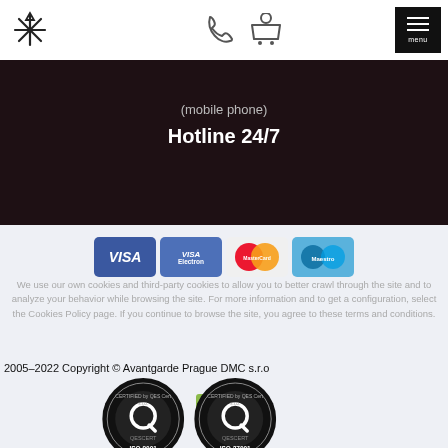[Figure (logo): Stylized asterisk/snowflake logo in top-left nav]
[Figure (illustration): Phone and shopping cart icons in nav center]
[Figure (other): Black menu button with three horizontal lines and 'menu' label]
(mobile phone)
Hotline 24/7
[Figure (other): Payment method logos: VISA, VISA Electron, MasterCard, Maestro]
We use our own cookies and third-party cookies to allow you to better crawl through the site and to analyze your behavior while browsing the site. For more information and to get a configuration, select the Cookies Policy page. If you continue to browse the site, you agree to these terms and conditions.
2005–2022 Copyright © Avantgarde Prague DMC s.r.o
[Figure (illustration): Two circular QES Cert certification badges: ISO 9001 and ISO 27001]